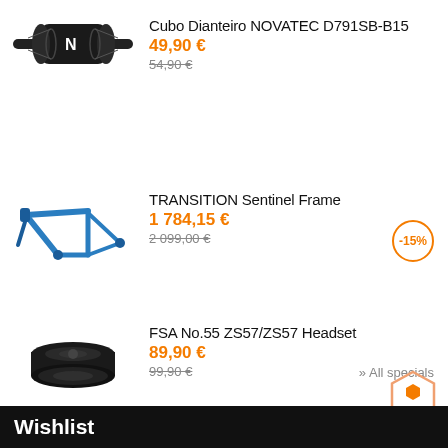[Figure (photo): Black bicycle front hub - Novatec D791SB-B15 with N logo]
Cubo Dianteiro NOVATEC D791SB-B15
49,90 €
54,90 €
[Figure (photo): Blue mountain bike frame - TRANSITION Sentinel Frame]
TRANSITION Sentinel Frame
1 784,15 €
2 099,00 €
-15%
[Figure (photo): Black FSA No.55 ZS57/ZS57 headset - round disc-shaped cycling component]
FSA No.55 ZS57/ZS57 Headset
89,90 €
99,90 €
» All specials
Wishlist